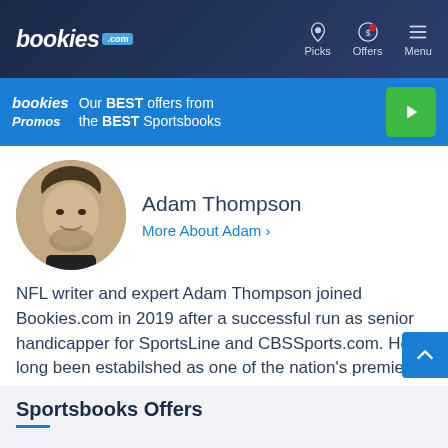bookies.com | Picks | Offers | Menu
[Figure (screenshot): Bookies Promos banner: Our BEST offers from the BEST Sportsbooks with a green play button]
[Figure (photo): Headshot photo of Adam Thompson, smiling man with short dark hair]
Adam Thompson
More About Adam >
NFL writer and expert Adam Thompson joined Bookies.com in 2019 after a successful run as senior handicapper for SportsLine and CBSSports.com. He's long been estabilshed as one of the nation's premier NFL and MLB handicappers, and his horse racing and PGA picks have produced major winners over the last 12 months.
Sportsbooks Offers